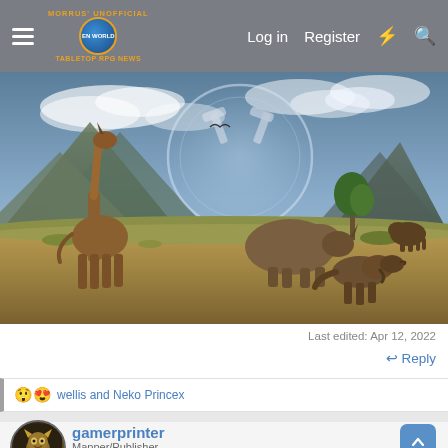Morrus' Unofficial Tabletop RPG News — Log in   Register
[Figure (illustration): Prehistoric scene with dinosaur-like animals on a savanna landscape with mountains and cloudy sky; includes a portal/orb visual overlay]
Last edited: Apr 12, 2022
↩ Reply
😲😍 wellis and Neko Princex
gamerprinter
Mapper/Publisher